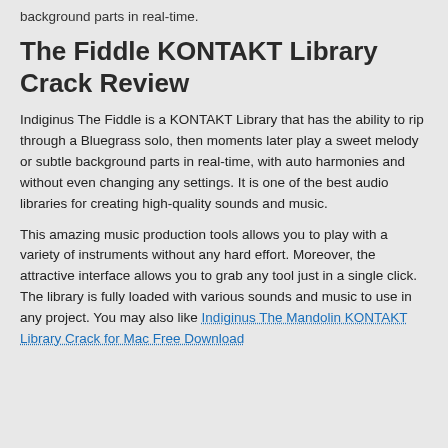background parts in real-time.
The Fiddle KONTAKT Library Crack Review
Indiginus The Fiddle is a KONTAKT Library that has the ability to rip through a Bluegrass solo, then moments later play a sweet melody or subtle background parts in real-time, with auto harmonies and without even changing any settings. It is one of the best audio libraries for creating high-quality sounds and music.
This amazing music production tools allows you to play with a variety of instruments without any hard effort. Moreover, the attractive interface allows you to grab any tool just in a single click. The library is fully loaded with various sounds and music to use in any project. You may also like Indiginus The Mandolin KONTAKT Library Crack for Mac Free Download